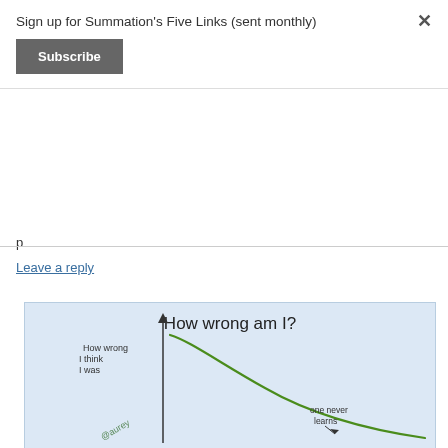Sign up for Summation's Five Links (sent monthly)
Subscribe
Leave a reply
[Figure (continuous-plot): Hand-drawn sketch on blue paper titled 'How wrong am I?' showing a curve labeled 'One never learns' that starts high on the y-axis (labeled 'How wrong I think I was') and decreases as x increases. The curve is green and drawn in a casual style. Artist handle '@aurey' is visible at the bottom left.]